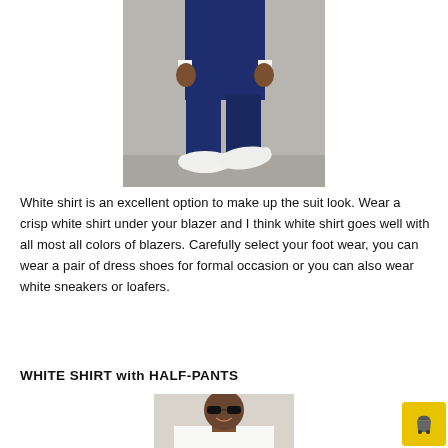[Figure (photo): Man in navy blue suit with white sneakers, photo cropped to show torso and legs walking]
White shirt is an excellent option to make up the suit look. Wear a crisp white shirt under your blazer and I think white shirt goes well with all most all colors of blazers. Carefully select your foot wear, you can wear a pair of dress shoes for formal occasion or you can also wear white sneakers or loafers.
WHITE SHIRT with HALF-PANTS
[Figure (photo): Man wearing sunglasses and white shirt, smiling, partial view]